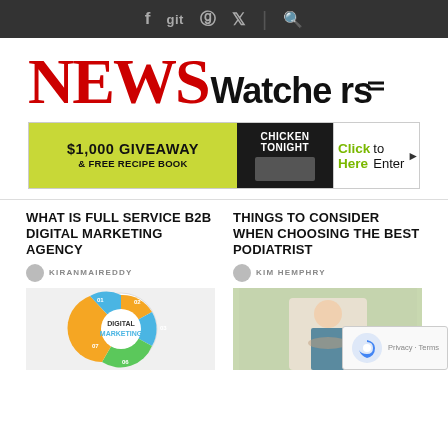f  git  p  t  | search
NEWS Watchers
[Figure (infographic): $1,000 GIVEAWAY & FREE RECIPE BOOK / CHICKEN TONIGHT / Click Here to Enter]
WHAT IS FULL SERVICE B2B DIGITAL MARKETING AGENCY
KIRANMAIREDDY
[Figure (illustration): Digital Marketing circular infographic with numbered segments]
THINGS TO CONSIDER WHEN CHOOSING THE BEST PODIATRIST
KIM HEMPHRY
[Figure (photo): Doctor/podiatrist image with stethoscope]